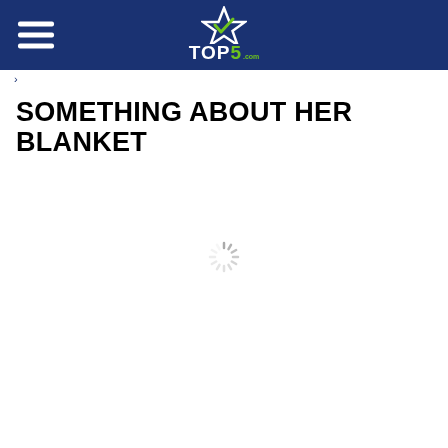TOP5.com
SOMETHING ABOUT HER BLANKET
[Figure (other): Loading spinner icon — circular arrangement of short lines radiating from center, indicating content loading]